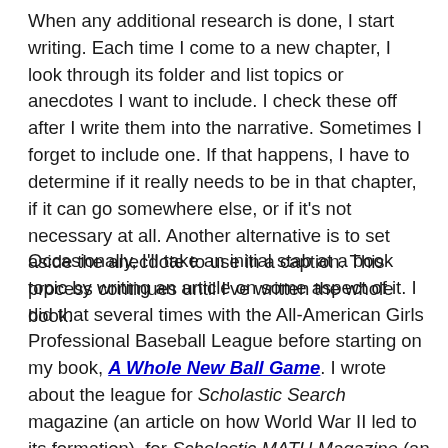When any additional research is done, I start writing. Each time I come to a new chapter, I look through its folder and list topics or anecdotes I want to include. I check these off after I write them into the narrative. Sometimes I forget to include one. If that happens, I have to determine if it really needs to be in that chapter, if it can go somewhere else, or if it's not necessary at all. Another alternative is to set aside the anecdote to use in a caption. This process continues until I've written the whole book.
Occasionally, I'll take an initial stab at a book topic by writing an article on some aspect of it. I did that several times with the All-American Girls Professional Baseball League before starting on my book, A Whole New Ball Game. I wrote about the league for Scholastic Search magazine (an article on how World War II led to its formation), for Scholastic MATH Magazine (an article on women's versus men's batting averages), and for the Sunday magazine of the California Daily News (profiles of